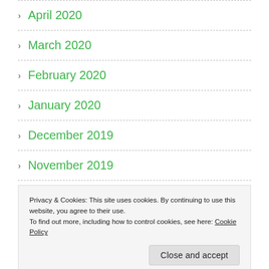April 2020
March 2020
February 2020
January 2020
December 2019
November 2019
October 2019
Privacy & Cookies: This site uses cookies. By continuing to use this website, you agree to their use.
To find out more, including how to control cookies, see here: Cookie Policy
July 2019